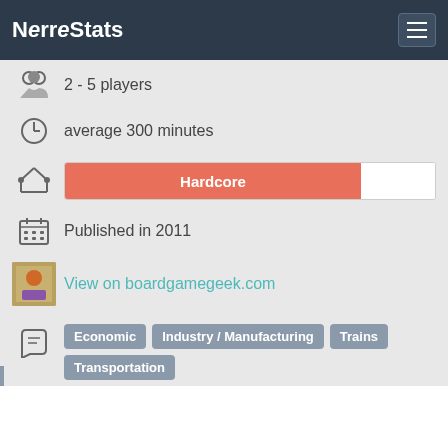NerreStats
2 - 5 players
average 300 minutes
Hardcore
Published in 2011
View on boardgamegeek.com
Economic  Industry / Manufacturing  Trains  Transportation
Auction/Bidding  Tile Placement  Stock Holding  Route/Network Building